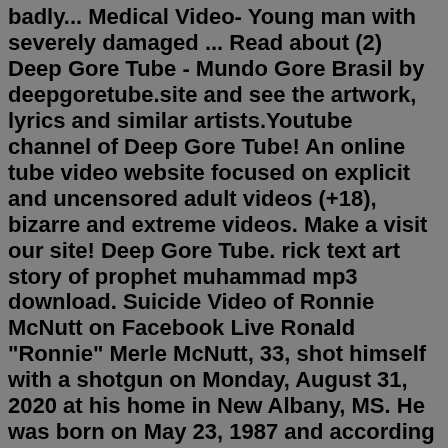badly... Medical Video- Young man with severely damaged ... Read about (2) Deep Gore Tube - Mundo Gore Brasil by deepgoretube.site and see the artwork, lyrics and similar artists.Youtube channel of Deep Gore Tube! An online tube video website focused on explicit and uncensored adult videos (+18), bizarre and extreme videos. Make a visit our site! Deep Gore Tube. rick text art story of prophet muhammad mp3 download. Suicide Video of Ronnie McNutt on Facebook Live Ronald "Ronnie" Merle McNutt, 33, shot himself with a shotgun on Monday, August 31, 2020 at his home in New Albany, MS. He was born on May 23, 1987 and according to reports on social media he recently lost both his job and ...Created by Danila Zolovkin from YouTube · Aug 11, 2016. 661. 9. 1. 116,739 views. mikkey mouse deep web deep web videos funny cat and mouse psychedelic. Recoubed by Vedat Demirkan · Sep 26, 2018. 419. 6. 1 709 1. Hatchet Wielding Man Shot Dead By Police. Naperville, IL, USA. 1 333 3. 4 People Shot In A Car. Brazil.. Below are some of the most brutal murders or